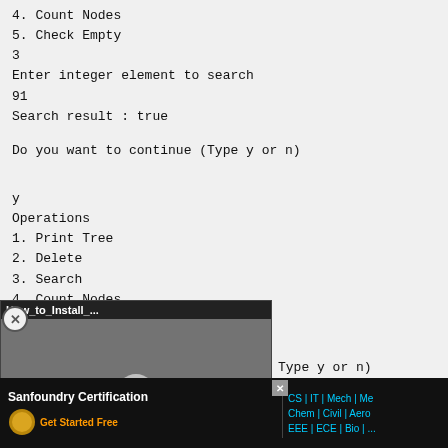4. Count Nodes
5. Check Empty
3
Enter integer element to search
91
Search result : true
Do you want to continue (Type y or n)
y
Operations
1. Print Tree
2. Delete
3. Search
4. Count Nodes
[Figure (screenshot): Video overlay thumbnail showing 'How_to_Install_...' with a play button]
Type y or n)
y
Oper
[Figure (infographic): Bottom advertisement bar for Sanfoundry Certification with CS, IT, Mech, Chem, Civil, Aero, EEE, ECE, Bio categories]